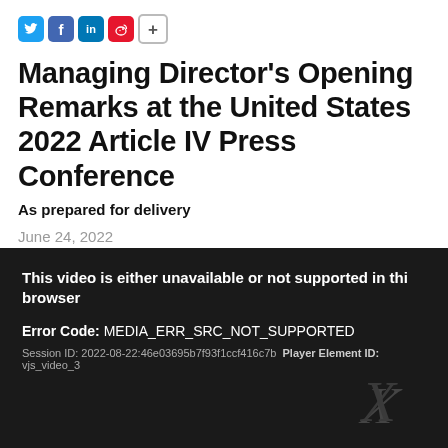[Figure (other): Social media sharing icons: Twitter, Facebook, LinkedIn, Weibo, and a plus button]
Managing Director's Opening Remarks at the United States 2022 Article IV Press Conference
As prepared for delivery
June 24, 2022
[Figure (screenshot): Video player error screen with dark background showing: 'This video is either unavailable or not supported in this browser', Error Code: MEDIA_ERR_SRC_NOT_SUPPORTED, Session ID: 2022-08-22:46e03695b7f93f1ccf416c7b Player Element ID: vjs_video_3, and an X symbol]